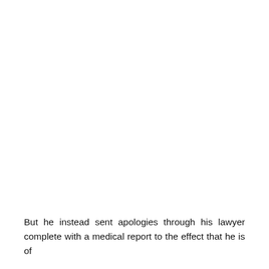But he instead sent apologies through his lawyer complete with a medical report to the effect that he is of